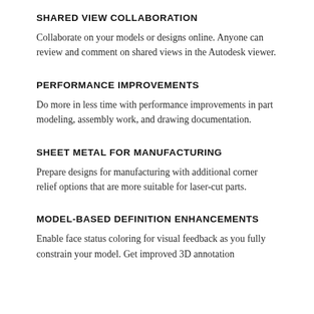SHARED VIEW COLLABORATION
Collaborate on your models or designs online. Anyone can review and comment on shared views in the Autodesk viewer.
PERFORMANCE IMPROVEMENTS
Do more in less time with performance improvements in part modeling, assembly work, and drawing documentation.
SHEET METAL FOR MANUFACTURING
Prepare designs for manufacturing with additional corner relief options that are more suitable for laser-cut parts.
MODEL-BASED DEFINITION ENHANCEMENTS
Enable face status coloring for visual feedback as you fully constrain your model. Get improved 3D annotation